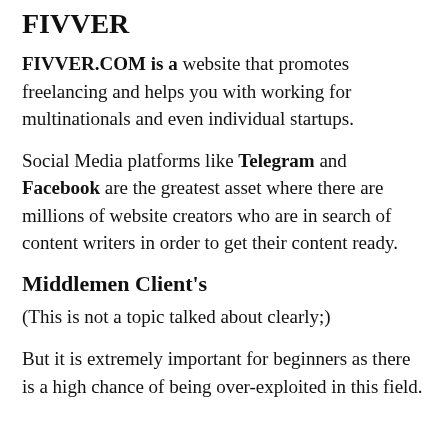FIVVER
FIVVER.COM is a website that promotes freelancing and helps you with working for multinationals and even individual startups.
Social Media platforms like Telegram and Facebook are the greatest asset where there are millions of website creators who are in search of content writers in order to get their content ready.
Middlemen Client's
(This is not a topic talked about clearly;)
But it is extremely important for beginners as there is a high chance of being over-exploited in this field.